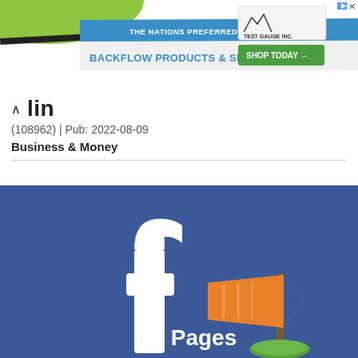[Figure (screenshot): Advertisement banner: green and white design with text 'THE NATIONS PREFERRED SOURCE FOR BACKFLOW PRODUCTS & SERVICES', Test Gauge Inc. logo, and SHOP TODAY button. Blue arrow/play icon and X in top right.]
lin
(108962) | Pub: 2022-08-09
Business & Money
[Figure (illustration): Facebook Pages graphic: dark blue background with large white Facebook 'f' logo on the left, and an orange/gold flag icon on a pole with green mound base on the right. White text 'Pages' below the flag.]